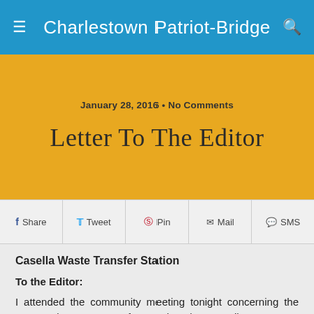Charlestown Patriot-Bridge
January 28, 2016 • No Comments
Letter To The Editor
Share  Tweet  Pin  Mail  SMS
Casella Waste Transfer Station
To the Editor:
I attended the community meeting tonight concerning the proposed waste transfer station by Casella Resource Solutions. I did not speak as my comments